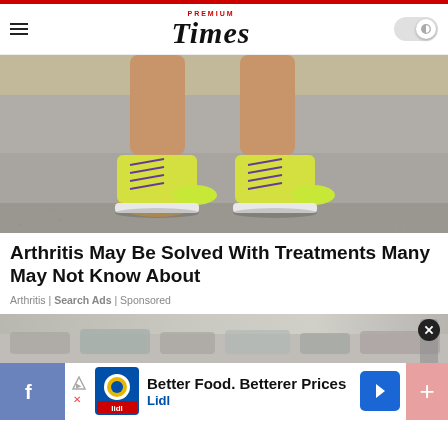Premium Times
[Figure (photo): Close-up photo of a person's legs from the knees down, wearing bright yellow-green running shoes with purple laces, standing on asphalt pavement.]
Arthritis May Be Solved With Treatments Many May Not Know About
Arthritis | Search Ads | Sponsored
[Figure (photo): Advertisement banner showing Lidl logo with text 'Better Food. Betterer Prices' and 'Lidl', overlaying a background image of a parking lot.]